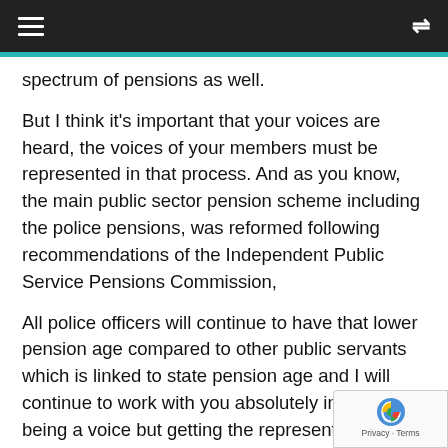≡  ⇌
spectrum of pensions as well.
But I think it's important that your voices are heard, the voices of your members must be represented in that process. And as you know, the main public sector pension scheme including the police pensions, was reformed following recommendations of the Independent Public Service Pensions Commission,
All police officers will continue to have that lower pension age compared to other public servants which is linked to state pension age and I will continue to work with you absolutely in terms of being a voice but getting the representation th you need into those discussions to reflect the unique nature of policing.